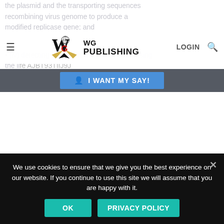WG Publishing — Navigation header with logo, hamburger menu, LOGIN and search icons
The recombining virus may be a vaccinia virus.
The method may also include the step:
(v) recovering recombinant coronavirus comprising the modified replicase gene from the DNA from the recombining virus from step
We use cookies to ensure that we give you the best experience on our website. If you continue to use this site we will assume that you are happy with it.